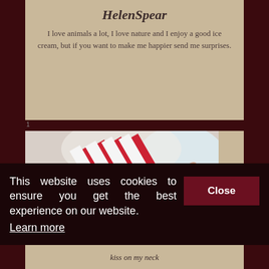HelenSpear
I love animals a lot, I love nature and I enjoy a good ice cream, but if you want to make me happier send me surprises.
[Figure (photo): Woman in red and white striped outfit lying on fluffy white surface with blue and warm lighting]
This website uses cookies to ensure you get the best experience on our website. Learn more
kiss on my neck